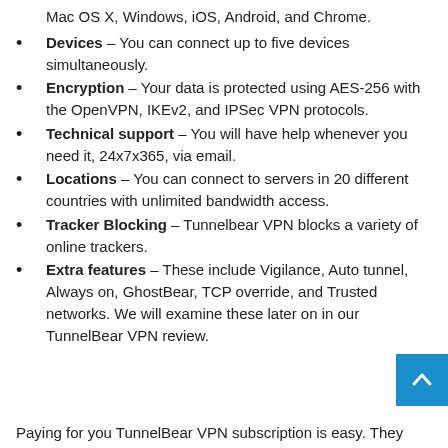Mac OS X, Windows, iOS, Android, and Chrome.
Devices – You can connect up to five devices simultaneously.
Encryption – Your data is protected using AES-256 with the OpenVPN, IKEv2, and IPSec VPN protocols.
Technical support – You will have help whenever you need it, 24x7x365, via email.
Locations – You can connect to servers in 20 different countries with unlimited bandwidth access.
Tracker Blocking – Tunnelbear VPN blocks a variety of online trackers.
Extra features – These include Vigilance, Auto tunnel, Always on, GhostBear, TCP override, and Trusted networks. We will examine these later on in our TunnelBear VPN review.
Paying for you TunnelBear VPN subscription is easy. They